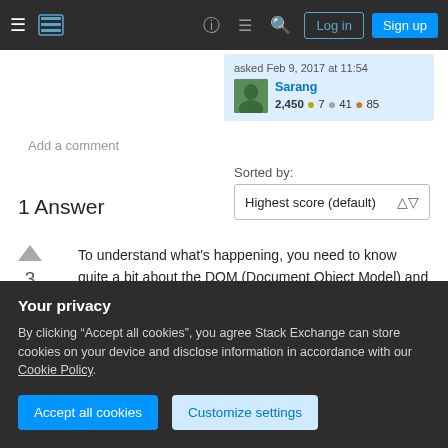Stack Exchange navigation bar with hamburger menu, logo, help icon, chat icon, search icon, Log in and Sign up buttons
asked Feb 9, 2017 at 11:54
Sarang 2,450 ●7 ●41 ●85
Add a comment
Sorted by:
Highest score (default)
1 Answer
To understand what's happening, you need to know quite a bit about the DOM (Document Object Model) and basic JavaScript. Consider the following HTML:
Your privacy
By clicking "Accept all cookies", you agree Stack Exchange can store cookies on your device and disclose information in accordance with our Cookie Policy.
Accept all cookies
Customize settings